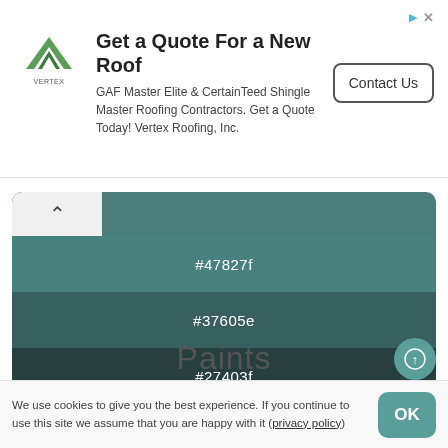[Figure (infographic): Advertisement banner for Vertex Roofing. Title: 'Get a Quote For a New Roof'. Body text: 'GAF Master Elite & CertainTeed Shingle Master Roofing Contractors. Get a Quote Today! Vertex Roofing, Inc.' Button labeled 'Contact Us'. Vertex logo on the left.]
[Figure (infographic): Color swatch palette showing teal/dark gradients with hex codes: #47827f, #37605e, #27403f, #182322, #000000 / #000]
Paints
We use cookies to give you the best experience. If you continue to use this site we assume that you are happy with it (privacy policy)